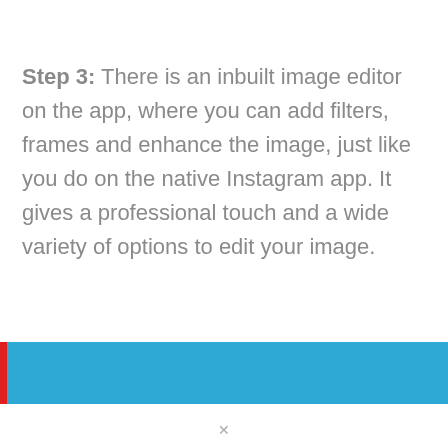Step 3: There is an inbuilt image editor on the app, where you can add filters, frames and enhance the image, just like you do on the native Instagram app. It gives a professional touch and a wide variety of options to edit your image.
[Figure (other): A blue horizontal bar with a red left border, partially visible at the bottom of the page, with some light-colored text partially visible.]